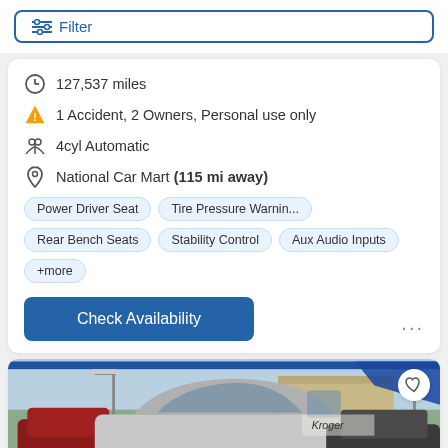Filter
127,537 miles
1 Accident, 2 Owners, Personal use only
4cyl Automatic
National Car Mart (115 mi away)
Power Driver Seat
Tire Pressure Warnin...
Rear Bench Seats
Stability Control
Aux Audio Inputs
+more
Check Availability
[Figure (photo): Silver hatchback car (Dodge Caliber) in a parking lot with other vehicles, cloudy sky background, dealership signage visible]